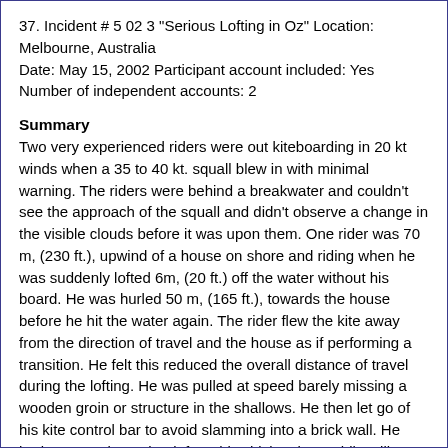37. Incident # 5 02 3 "Serious Lofting in Oz" Location: Melbourne, Australia
Date: May 15, 2002 Participant account included: Yes
Number of independent accounts: 2
Summary
Two very experienced riders were out kiteboarding in 20 kt winds when a 35 to 40 kt. squall blew in with minimal warning. The riders were behind a breakwater and couldn't see the approach of the squall and didn't observe a change in the visible clouds before it was upon them. One rider was 70 m, (230 ft.), upwind of a house on shore and riding when he was suddenly lofted 6m, (20 ft.) off the water without his board. He was hurled 50 m, (165 ft.), towards the house before he hit the water again. The rider flew the kite away from the direction of travel and the house as if performing a transition. He felt this reduced the overall distance of travel during the lofting. He was pulled at speed barely missing a wooden groin or structure in the shallows. He then let go of his kite control bar to avoid slamming into a brick wall. He had managed to unhook from his chicken loop while still airborne making releasing the control bar possible. This very experienced rider was using a kite depowering leash. The other very experienced rider was having great difficulty in unhooking from his chicken loop and was rigged with a Naish ARX 11.5 m kite. He managed to unhook and release his bar also avoiding slamming into a brick wall. He was also using a kite depowering leash. Both kites landed in the backyard of a